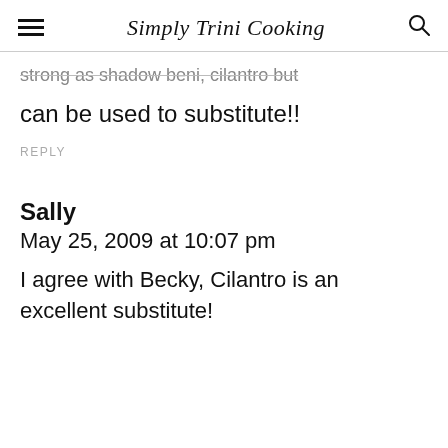Simply Trini Cooking
...strong as shadow beni, cilantro but can be used to substitute!!
REPLY
Sally
May 25, 2009 at 10:07 pm
I agree with Becky, Cilantro is an excellent substitute!